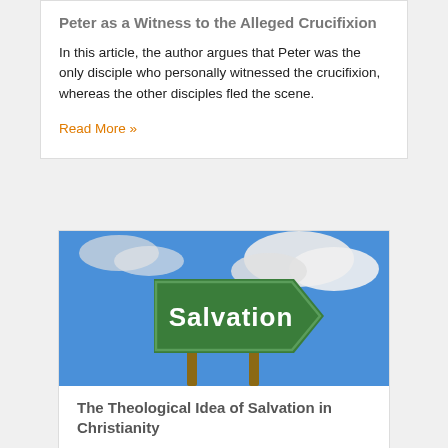Peter as a Witness to the Alleged Crucifixion
In this article, the author argues that Peter was the only disciple who personally witnessed the crucifixion, whereas the other disciples fled the scene.
Read More »
[Figure (photo): A green road sign reading 'Salvation' against a blue sky with white clouds, mounted on wooden posts.]
The Theological Idea of Salvation in Christianity
The big question for any